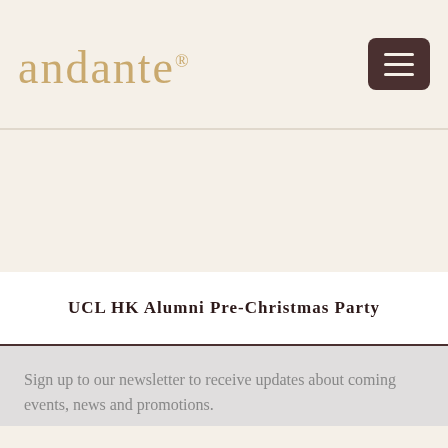andante® [logo with hamburger menu]
UCL HK Alumni Pre-Christmas Party
Sign up to our newsletter to receive updates about coming events, news and promotions.
Your email address
Submit